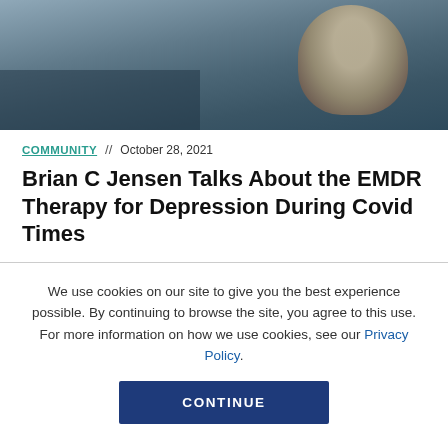[Figure (photo): Blurred photo of a person in a therapy or consultation setting, dark and muted tones]
COMMUNITY // October 28, 2021
Brian C Jensen Talks About the EMDR Therapy for Depression During Covid Times
We use cookies on our site to give you the best experience possible. By continuing to browse the site, you agree to this use. For more information on how we use cookies, see our Privacy Policy.
CONTINUE